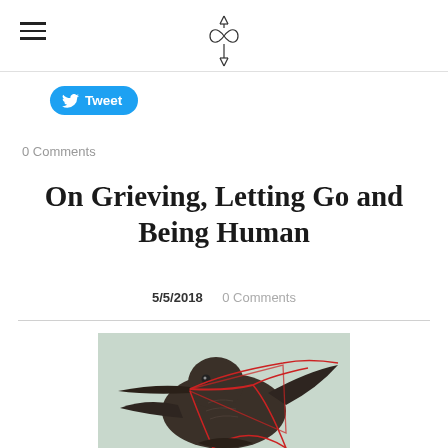[Site logo and navigation]
Tweet
0 Comments
On Grieving, Letting Go and Being Human
5/5/2018   0 Comments
[Figure (photo): A dark bird (raven or crow) sculpture or illustration with red strings or threads wrapped and crossing around its body and wings, on a light greenish background.]